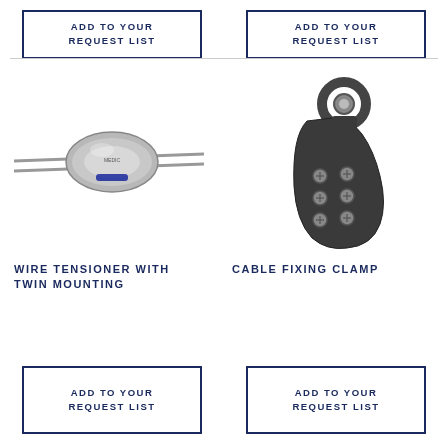ADD TO YOUR REQUEST LIST
ADD TO YOUR REQUEST LIST
[Figure (photo): Wire tensioner with twin mounting – silver metallic oval-shaped tensioner device on a wire/cable rod with blue accent]
[Figure (photo): Cable fixing clamp – dark metal clamp with ring hook at top and multiple screw holes at bottom]
WIRE TENSIONER WITH TWIN MOUNTING
CABLE FIXING CLAMP
ADD TO YOUR REQUEST LIST
ADD TO YOUR REQUEST LIST